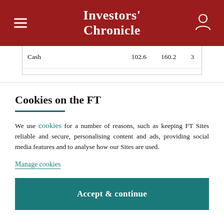Investors' Chronicle
|  |  |  |  |
| --- | --- | --- | --- |
| Cash | 102.6 | 160.2 | 3 |
Cookies on the FT
We use cookies for a number of reasons, such as keeping FT Sites reliable and secure, personalising content and ads, providing social media features and to analyse how our Sites are used.
Manage cookies
Accept & continue